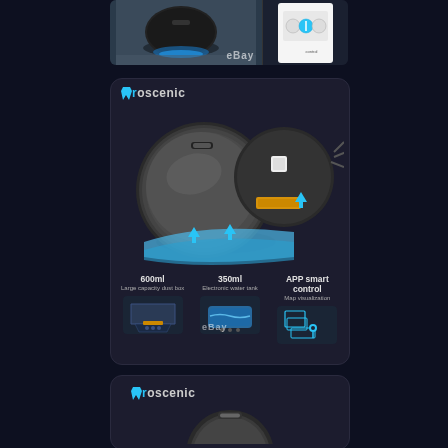[Figure (photo): Top section showing two product photos of Proscenic robot vacuum cleaner side by side on dark background with eBay watermark]
[Figure (infographic): Proscenic branded product card showing robot vacuum with exploded view highlighting 600ml Large capacity dust box, 350ml Electronic water tank, and APP smart control with Map visualization features]
[Figure (photo): Proscenic branded card showing top-down view of robot vacuum cleaner, partially cropped]